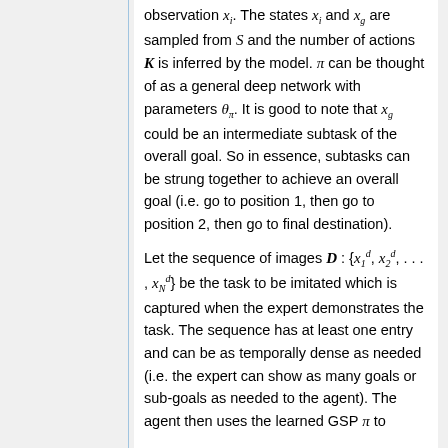observation x_i. The states x_i and x_g are sampled from S and the number of actions K is inferred by the model. π can be thought of as a general deep network with parameters θ_π. It is good to note that x_g could be an intermediate subtask of the overall goal. So in essence, subtasks can be strung together to achieve an overall goal (i.e. go to position 1, then go to position 2, then go to final destination).
Let the sequence of images D : {x_1^d, x_2^d, ..., x_N^d} be the task to be imitated which is captured when the expert demonstrates the task. The sequence has at least one entry and can be as temporally dense as needed (i.e. the expert can show as many goals or sub-goals as needed to the agent). The agent then uses the learned GSP π to